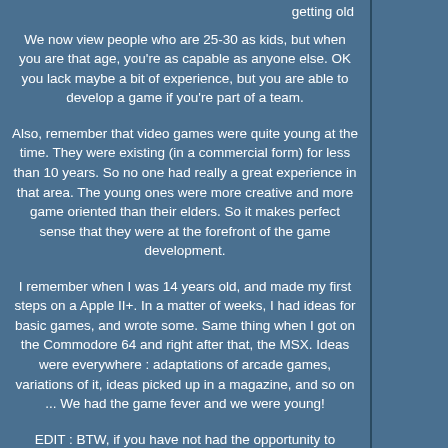getting old
We now view people who are 25-30 as kids, but when you are that age, you're as capable as anyone else. OK you lack maybe a bit of experience, but you are able to develop a game if you're part of a team.
Also, remember that video games were quite young at the time. They were existing (in a commercial form) for less than 10 years. So no one had really a great experience in that area. The young ones were more creative and more game oriented than their elders. So it makes perfect sense that they were at the forefront of the game development.
I remember when I was 14 years old, and made my first steps on a Apple II+. In a matter of weeks, I had ideas for basic games, and wrote some. Same thing when I got on the Commodore 64 and right after that, the MSX. Ideas were everywhere : adaptations of arcade games, variations of it, ideas picked up in a magazine, and so on ... We had the game fever and we were young!
EDIT : BTW, if you have not had the opportunity to